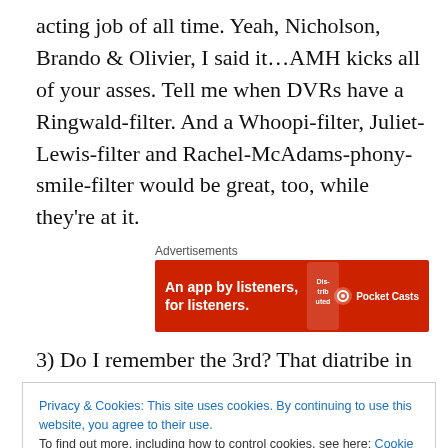acting job of all time. Yeah, Nicholson, Brando & Olivier, I said it…AMH kicks all of your asses. Tell me when DVRs have a Ringwald-filter. And a Whoopi-filter, Juliet-Lewis-filter and Rachel-McAdams-phony-smile-filter would be great, too, while they're at it.
Advertisements
[Figure (infographic): Red advertisement banner for Pocket Casts: 'An app by listeners, for listeners.' with Pocket Casts logo and a phone/book graphic.]
3) Do I remember the 3rd? That diatribe in #2 took a lot out of me. Oh, yes…when you're 1 hour into a 4-part mini-
Privacy & Cookies: This site uses cookies. By continuing to use this website, you agree to their use.
To find out more, including how to control cookies, see here: Cookie Policy
Close and accept
This is a tie blog, right? Sheesh, sorry